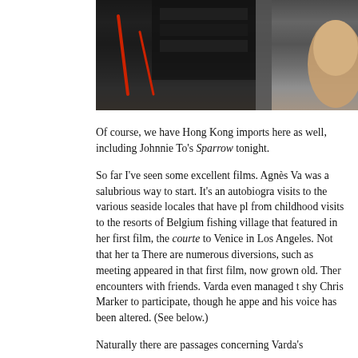[Figure (photo): Close-up photo of what appears to be film reels or tape with red lines/markings on a dark metallic surface, with a hand/finger visible at the right edge.]
Of course, we have Hong Kong imports here as well, including Johnnie To's Sparrow tonight.
So far I've seen some excellent films. Agnès Va... was a salubrious way to start. It's an autobiogra... visits to the various seaside locales that have pl... from childhood visits to the resorts of Belgium ... fishing village that featured in her first film, the... courte to Venice in Los Angeles. Not that her ta... There are numerous diversions, such as meeting... appeared in that first film, now grown old. Ther... encounters with friends. Varda even managed to... shy Chris Marker to participate, though he appe... and his voice has been altered. (See below.)
Naturally there are passages concerning Varda's...